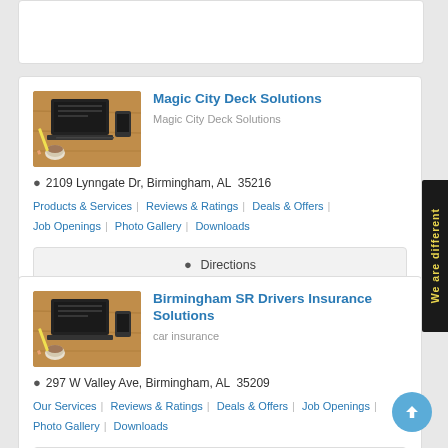[Figure (screenshot): Partial business listing card at top of page (cropped)]
Magic City Deck Solutions
Magic City Deck Solutions
2109 Lynngate Dr, Birmingham, AL  35216
Products & Services | Reviews & Ratings | Deals & Offers | Job Openings | Photo Gallery | Downloads
Directions
Birmingham SR Drivers Insurance Solutions
car insurance
297 W Valley Ave, Birmingham, AL  35209
Our Services | Reviews & Ratings | Deals & Offers | Job Openings | Photo Gallery | Downloads
Directions